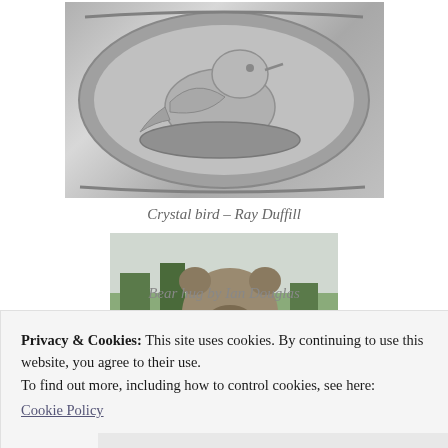[Figure (photo): Black and white photograph of a crystal bird sculpture by Ray Duffill, showing a bird in relief carved in crystal with detailed feather texture]
Crystal bird – Ray Duffill
[Figure (photo): Color photograph of a bear sculpture outdoors, with a person hugging or embracing the large bear statue]
Bear hug by Ian Douglas
Privacy & Cookies: This site uses cookies. By continuing to use this website, you agree to their use.
To find out more, including how to control cookies, see here:
Cookie Policy
[Figure (photo): Partial view of another artwork or photo at the bottom of the page]